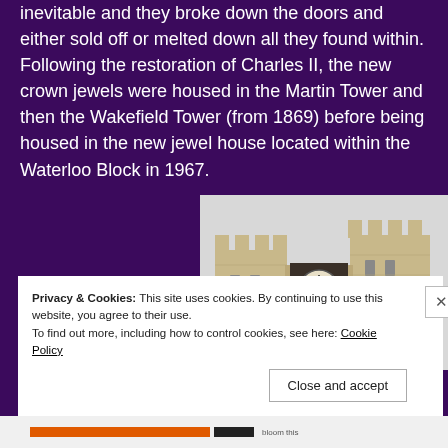inevitable and they broke down the doors and either sold off or melted down all they found within. Following the restoration of Charles II, the new crown jewels were housed in the Martin Tower and then the Wakefield Tower (from 1869) before being housed in the new jewel house located within the Waterloo Block in 1967.
[Figure (photo): Photograph of the Waterloo Block (Jewel House) at the Tower of London, showing stone castle towers with battlements and a clock mounted between them, against a light grey sky.]
Privacy & Cookies: This site uses cookies. By continuing to use this website, you agree to their use.
To find out more, including how to control cookies, see here: Cookie Policy
Close and accept